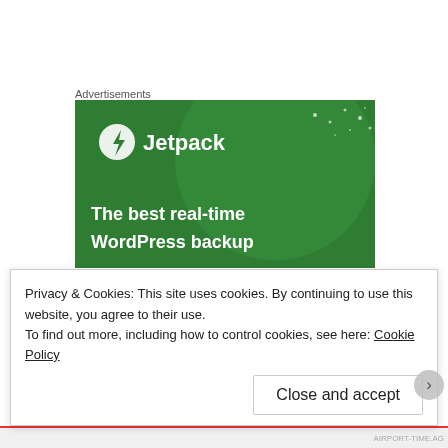Advertisements
[Figure (illustration): Jetpack advertisement banner on green background with large circle graphic. Text reads: Jetpack logo (lightning bolt in circle) — Jetpack. The best real-time WordPress backup]
One Friday night though, when the neon lights at every club were bright and high and oven timers pierced the thick air, and s f
Privacy & Cookies: This site uses cookies. By continuing to use this website, you agree to their use.
To find out more, including how to control cookies, see here: Cookie Policy
Close and accept